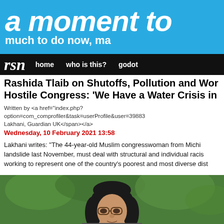a moment to
much to do now, ma
rsn   home   who is this?   godot
Rashida Tlaib on Shutoffs, Pollution and Wor Hostile Congress: 'We Have a Water Crisis in
Written by <a href="index.php?option=com_comprofiler&task=userProfile&user=39883 Lakhani, Guardian UK</span></a>
Wednesday, 10 February 2021 13:58
Lakhani writes: "The 44-year-old Muslim congresswoman from Michi landslide last November, must deal with structural and individual racis working to represent one of the country's poorest and most diverse dist
[Figure (photo): Photo of Rashida Tlaib, a woman with long dark hair and glasses, with green foliage in the background]